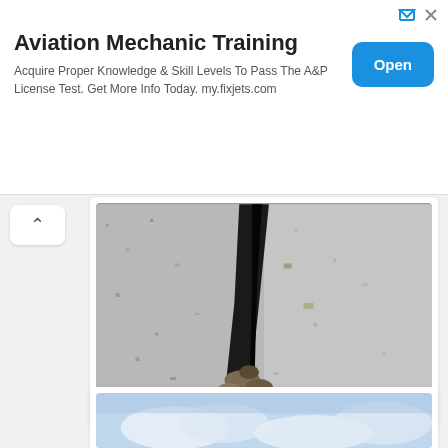[Figure (screenshot): Advertisement banner for Aviation Mechanic Training with title text, subtitle text, and Open button]
Aviation Mechanic Training
Acquire Proper Knowledge & Skill Levels To Pass The A&P License Test. Get More Info Today. my.fixjets.com
[Figure (photo): Technical section of a rocky trail showing a narrow crack/crevice between granite rocks with a hand hold, stones visible at the bottom]
Technical section of the trail with a hand hold
[Figure (photo): Partial view of sky with clouds at the bottom of the page]